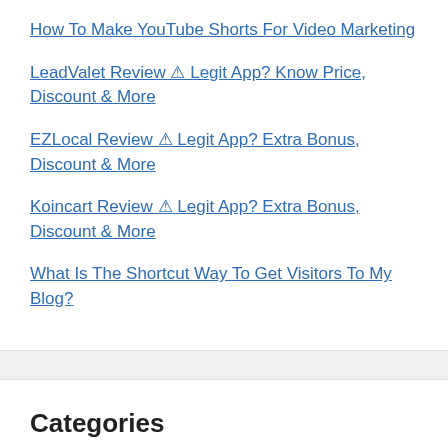How To Make YouTube Shorts For Video Marketing
LeadValet Review ⚠ Legit App? Know Price, Discount & More
EZLocal Review ⚠ Legit App? Extra Bonus, Discount & More
Koincart Review ⚠ Legit App? Extra Bonus, Discount & More
What Is The Shortcut Way To Get Visitors To My Blog?
Categories